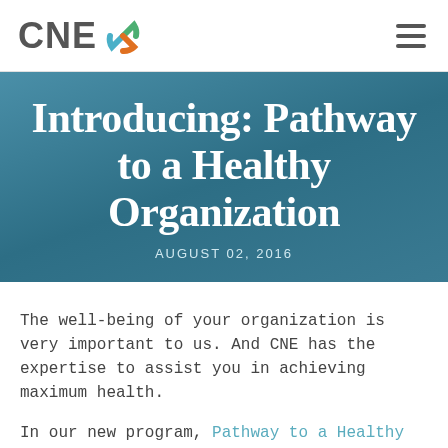CNE [logo] [hamburger menu]
Introducing: Pathway to a Healthy Organization
AUGUST 02, 2016
The well-being of your organization is very important to us. And CNE has the expertise to assist you in achieving maximum health.
In our new program, Pathway to a Healthy Organization, nonprofits will engage in an online self-assessment through McKinsey OCAT.